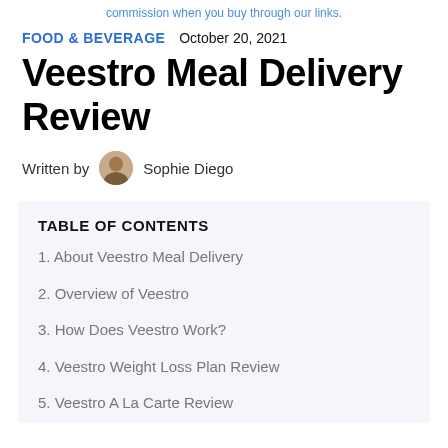commission when you buy through our links.
FOOD & BEVERAGE   October 20, 2021
Veestro Meal Delivery Review
Written by Sophie Diego
TABLE OF CONTENTS
1. About Veestro Meal Delivery
2. Overview of Veestro
3. How Does Veestro Work?
4. Veestro Weight Loss Plan Review
5. Veestro A La Carte Review